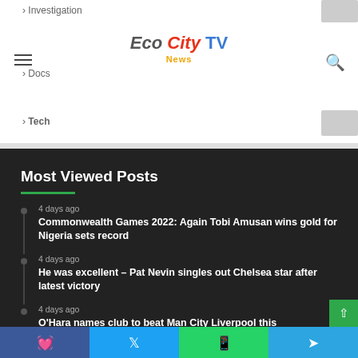Eco City TV News - navigation header with logo, hamburger menu, search icon
Investigation
Docs
Tech
Most Viewed Posts
4 days ago - Commonwealth Games 2022: Again Tobi Amusan wins gold for Nigeria sets record
4 days ago - He was excellent – Pat Nevin singles out Chelsea star after latest victory
4 days ago - O'Hara names club to beat Man City Liverpool this
Facebook | Twitter | WhatsApp | Telegram